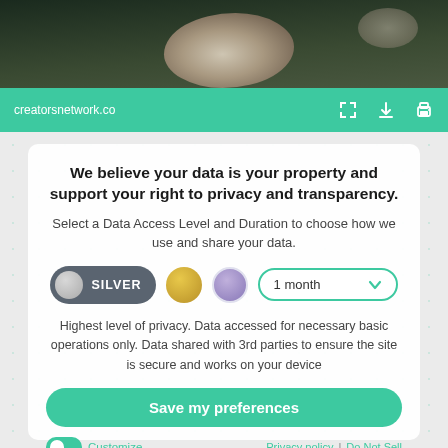[Figure (screenshot): Dark rocky texture photo strip at top of page]
creatorsnetwork.co
We believe your data is your property and support your right to privacy and transparency.
Select a Data Access Level and Duration to choose how we use and share your data.
[Figure (infographic): Data access level selector with SILVER pill button, gold circle, purple circle, and 1 month dropdown]
Highest level of privacy. Data accessed for necessary basic operations only. Data shared with 3rd parties to ensure the site is secure and works on your device
Save my preferences
Customize   Privacy policy  |  Do Not Sell